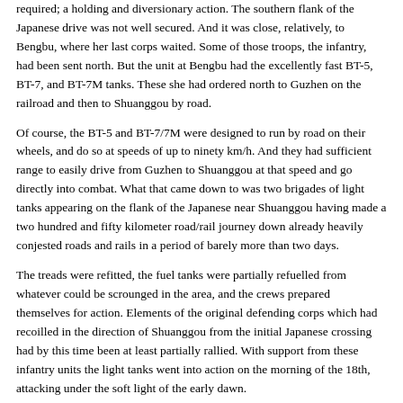required; a holding and diversionary action. The southern flank of the Japanese drive was not well secured. And it was close, relatively, to Bengbu, where her last corps waited. Some of those troops, the infantry, had been sent north. But the unit at Bengbu had the excellently fast BT-5, BT-7, and BT-7M tanks. These she had ordered north to Guzhen on the railroad and then to Shuanggou by road.
Of course, the BT-5 and BT-7/7M were designed to run by road on their wheels, and do so at speeds of up to ninety km/h. And they had sufficient range to easily drive from Guzhen to Shuanggou at that speed and go directly into combat. What that came down to was two brigades of light tanks appearing on the flank of the Japanese near Shuanggou having made a two hundred and fifty kilometer road/rail journey down already heavily conjested roads and rails in a period of barely more than two days.
The treads were refitted, the fuel tanks were partially refuelled from whatever could be scrounged in the area, and the crews prepared themselves for action. Elements of the original defending corps which had recoilled in the direction of Shuanggou from the initial Japanese crossing had by this time been at least partially rallied. With support from these infantry units the light tanks went into action on the morning of the 18th, attacking under the soft light of the early dawn.